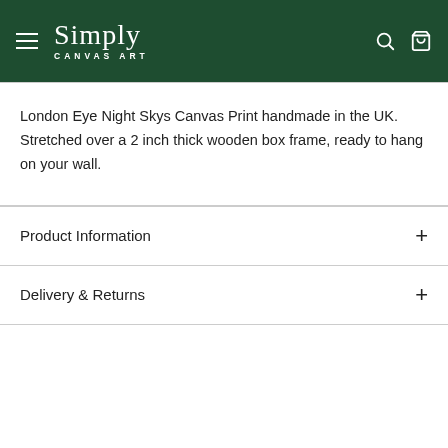Simply CANVAS ART
London Eye Night Skys Canvas Print handmade in the UK. Stretched over a 2 inch thick wooden box frame, ready to hang on your wall.
Product Information
Delivery & Returns